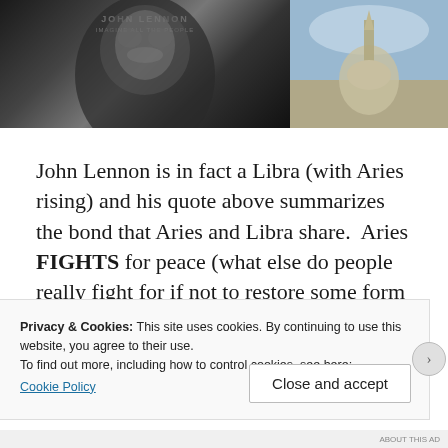[Figure (photo): Two side-by-side images: left shows a black and white photo of John Lennon with text overlay 'JOHN LENNON', right shows a statue of a warrior figure against a sky background.]
John Lennon is in fact a Libra (with Aries rising) and his quote above summarizes the bond that Aries and Libra share.  Aries FIGHTS for peace (what else do people really fight for if not to restore some form of equilibrium?) and Libra needs JUSTICE so bad that it will
Privacy & Cookies: This site uses cookies. By continuing to use this website, you agree to their use.
To find out more, including how to control cookies, see here:
Cookie Policy
Close and accept